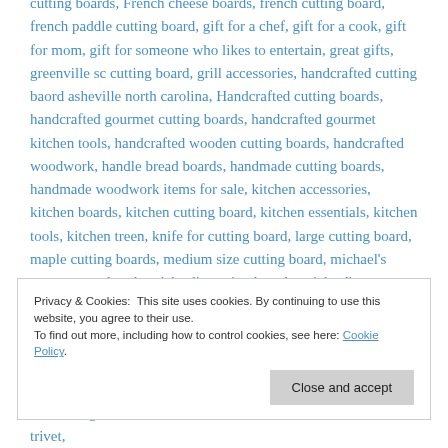cutting boards, French cheese boards, french cutting board, french paddle cutting board, gift for a chef, gift for a cook, gift for mom, gift for someone who likes to entertain, great gifts, greenville sc cutting board, grill accessories, handcrafted cutting baord asheville north carolina, Handcrafted cutting boards, handcrafted gourmet cutting boards, handcrafted gourmet kitchen tools, handcrafted wooden cutting boards, handcrafted woodwork, handle bread boards, handmade cutting boards, handmade woodwork items for sale, kitchen accessories, kitchen boards, kitchen cutting board, kitchen essentials, kitchen tools, kitchen treen, knife for cutting board, large cutting board, maple cutting boards, medium size cutting board, michael's custom woodwork, michael's cutting boards, michael's woodcraftX michaels woodshop, michaels woodwork, michaels woodworking, Mineral oil cutting boards, more than a gift, nice cutting board of...
Privacy & Cookies: This site uses cookies. By continuing to use this website, you agree to their use. To find out more, including how to control cookies, see here: Cookie Policy
Close and accept
treasured gift, treen, treen kitchen items, treen wood items, trivet,